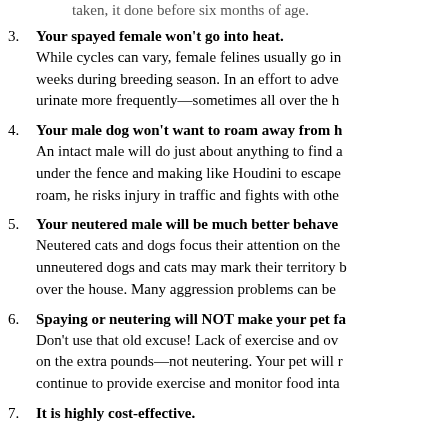taken, it done before six months of age.
3. Your spayed female won’t go into heat. While cycles can vary, female felines usually go in weeks during breeding season. In an effort to adve urinate more frequently—sometimes all over the h
4. Your male dog won’t want to roam away from h An intact male will do just about anything to find a under the fence and making like Houdini to escape roam, he risks injury in traffic and fights with othe
5. Your neutered male will be much better behave Neutered cats and dogs focus their attention on the unneutered dogs and cats may mark their territory b over the house. Many aggression problems can be
6. Spaying or neutering will NOT make your pet fa Don’t use that old excuse! Lack of exercise and ov on the extra pounds—not neutering. Your pet will r continue to provide exercise and monitor food inta
7. It is highly cost-effective.